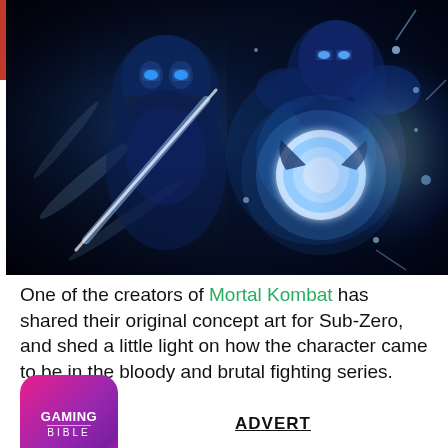[Figure (photo): Action game art showing Sub-Zero character from Mortal Kombat in two poses against a dark blue glowing background — left side shows a close-up masked face, right side shows the character holding a glowing ice energy ball.]
One of the creators of Mortal Kombat has shared their original concept art for Sub-Zero, and shed a little light on how the character came to be in the bloody and brutal fighting series.
[Figure (logo): Gaming Bible app icon — pink/purple gradient rounded square with GAMING BIBLE text]
ADVERT